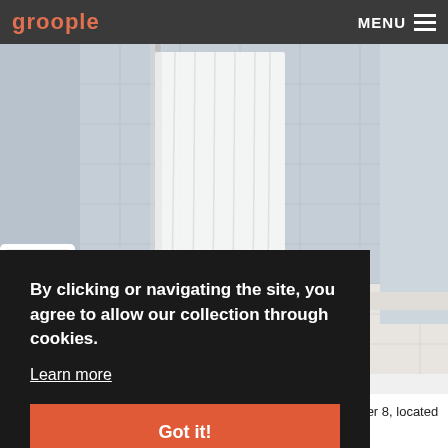groople  MENU
[Figure (photo): Bathroom interior showing white tiled shower area with white curtain, drain visible on floor, toilet partially visible on left side. Light blue/grey tile walls.]
By clicking or navigating the site, you agree to allow our collection through cookies.
Learn more
Got it!
100 Percent Smoke Free Facility
Welcome to the Toman Super 8, located at the Heart of Cranberry Country
Convenient location at